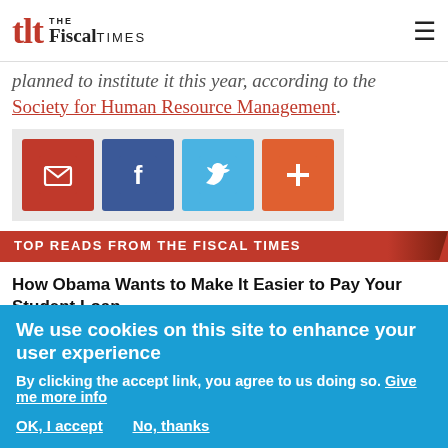The Fiscal Times
planned to institute it this year, according to the Society for Human Resource Management.
[Figure (infographic): Social share icons: email (red), Facebook (blue), Twitter (light blue), plus/more (orange-red)]
TOP READS FROM THE FISCAL TIMES
How Obama Wants to Make It Easier to Pay Your Student Loan
Can you name your student loan servicer? If the federal government’s new proposal goes according to plan, you won’t…
Here’s How Much You Can Save When Your Employer Helps With Student Loans
As employers explore different ways to lure millennial workers, a growing
We use cookies on this site to enhance your user experience
By clicking the accept link, you agree to us doing so. Give me more info
OK, I accept    No, thanks